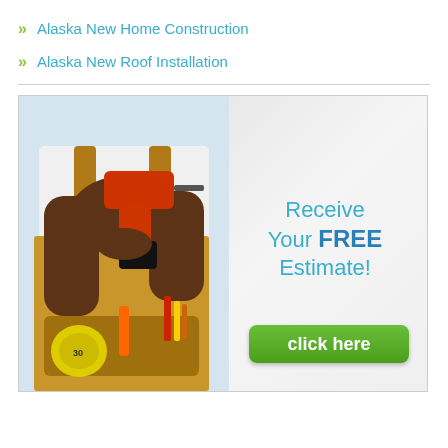» Alaska New Home Construction
» Alaska New Roof Installation
[Figure (illustration): Advertisement banner showing a construction worker holding a power drill with tool belt, beside text 'Receive Your FREE Estimate!' and a green 'click here' button.]